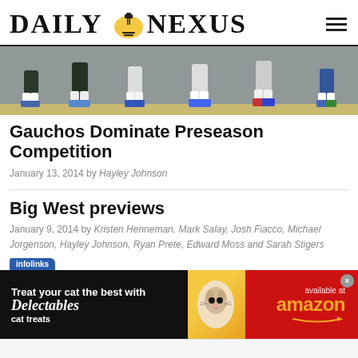DAILY NEXUS
[Figure (photo): Sports photo showing volleyball/basketball players' legs and feet on a gym court with colorful sneakers]
Gauchos Dominate Preseason Competition
January 13, 2014 by Hayley Johnson
Big West previews
January 9, 2014 by Kristen Henneman, Mark Salay, Josh Fiacco, Michael Jorgenson, Hayley Johnson, Ryan Prete, Edward Moss and Sarah Stigers
[Figure (photo): Infolinks advertisement banner: 'Treat your cat the best with Delectables cat treats' available at amazon, showing a cat image with yellow and red background]